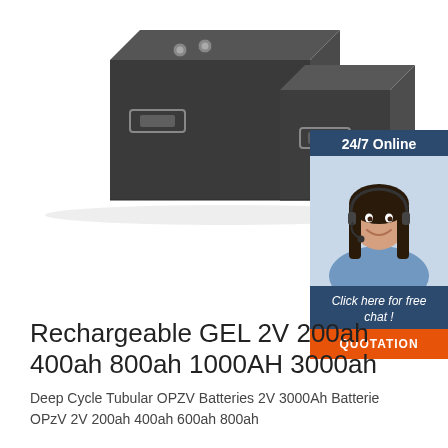[Figure (photo): Two dark gray/black rectangular battery units (GEL batteries) side by side on a white background. The larger unit is on the left and a smaller one on the right. Both have metal handles and terminal connections on top.]
[Figure (infographic): Customer support chat widget with dark blue background. Shows '24/7 Online' header, a photo of a smiling woman wearing a headset, italic text 'Click here for free chat!', and an orange button labeled 'QUOTATION'.]
Rechargeable GEL 2V 200ah 400ah 800ah 1000AH 3000ah
Deep Cycle Tubular OPZV Batteries 2V 3000Ah Batterie OPzV 2V 200ah 400ah 600ah 800ah